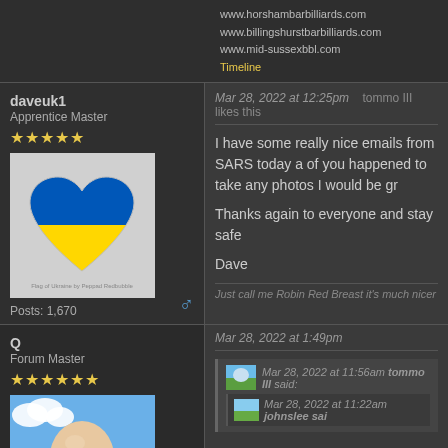www.horshambarbilliards.com
www.billingshurstbarbilliards.com
www.mid-sussexbbl.com
Timeline
daveuk1
Apprentice Master
★★★★★
[Figure (illustration): Ukraine flag heart shape - blue top half, yellow bottom half on light grey background]
Posts: 1,670
Mar 28, 2022 at 12:25pm   tommo III likes this
I have some really nice emails from SARS today a of you happened to take any photos I would be gr
Thanks again to everyone and stay safe
Dave
Just call me Robin Red Breast it's much nicer
Q
Forum Master
★★★★★★
[Figure (illustration): Cartoon bald man avatar with glasses against blue sky with clouds]
Mar 28, 2022 at 1:49pm
Mar 28, 2022 at 11:56am tommo III said:
Mar 28, 2022 at 11:22am johnslee sai